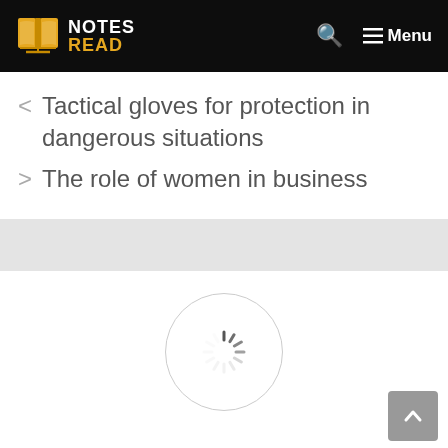NOTES READ — Menu
< Tactical gloves for protection in dangerous situations
> The role of women in business
[Figure (other): Loading spinner inside a circular border, shown on white background below a gray bar]